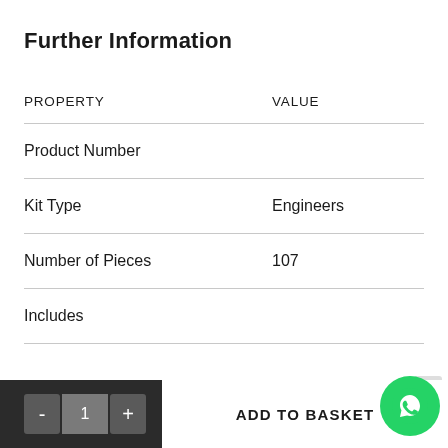Further Information
| PROPERTY | VALUE |
| --- | --- |
| Product Number |  |
| Kit Type | Engineers |
| Number of Pieces | 107 |
| Includes |  |
- 1 + ADD TO BASKET